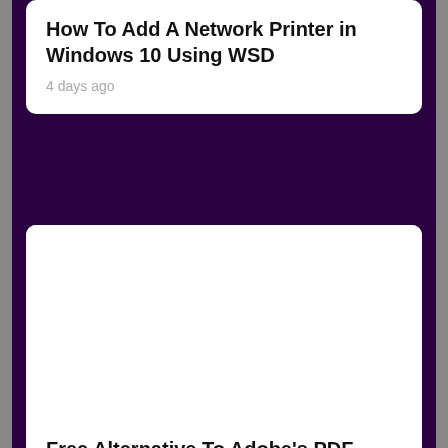How To Add A Network Printer in Windows 10 Using WSD
4 days ago
[Figure (other): Blank white image placeholder for article thumbnail]
Free Alternative To Adobe's PDF Reader: Quickly Install And Set Up Foxit Reader
5 days ago
[Figure (other): Blank white image placeholder for third article card]